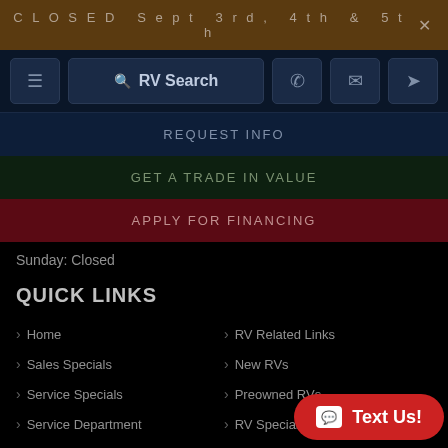CLOSED Sept 3rd, 4th & 5th
RV Search
REQUEST INFO
GET A TRADE IN VALUE
APPLY FOR FINANCING
Sunday: Closed
QUICK LINKS
Home
RV Related Links
Sales Specials
New RVs
Service Specials
Preowned RVs
Service Department
RV Specials
Parts Catalogue
Travel Trailers
Financing Application
Fifth Wheels
Text Us!